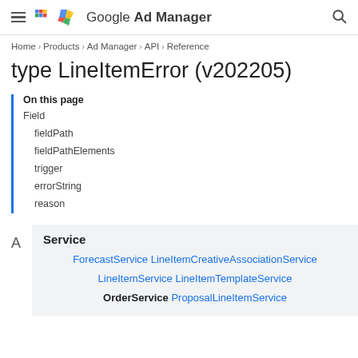Google Ad Manager
Home > Products > Ad Manager > API > Reference
type LineItemError (v202205)
On this page
Field
fieldPath
fieldPathElements
trigger
errorString
reason
| Service |
| --- |
| ForecastService LineItemCreativeAssociationService LineItemService LineItemTemplateService OrderService ProposalLineItemService |